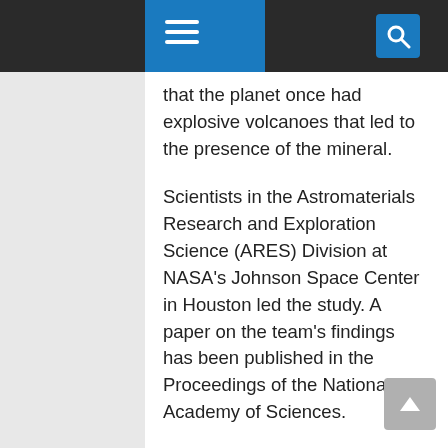[Navigation bar with hamburger menu and search icon]
that the planet once had explosive volcanoes that led to the presence of the mineral.
Scientists in the Astromaterials Research and Exploration Science (ARES) Division at NASA’s Johnson Space Center in Houston led the study. A paper on the team’s findings has been published in the Proceedings of the National Academy of Sciences.
“On Earth, tridymite is formed at high temperatures in an explosive process called silicic volcanism. Mount St.